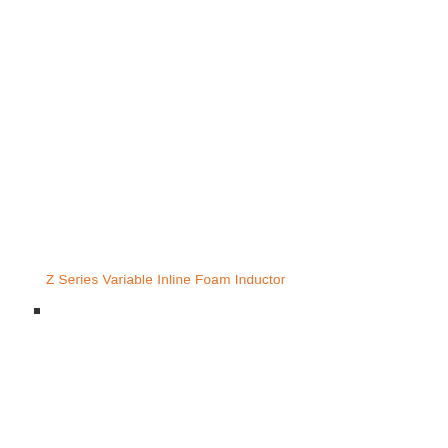Z Series Variable Inline Foam Inductor